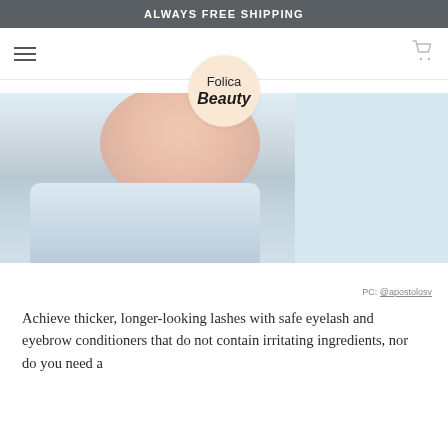ALWAYS FREE SHIPPING
[Figure (logo): Folica Beauty logo — circular peach/cream background with text 'Folica' and 'Beauty' in italic bold]
[Figure (photo): Close-up photo of a woman's face and upper body wearing a light blue/white outfit, soft light background]
PC: @apostolosv
Achieve thicker, longer-looking lashes with safe eyelash and eyebrow conditioners that do not contain irritating ingredients, nor do you need a